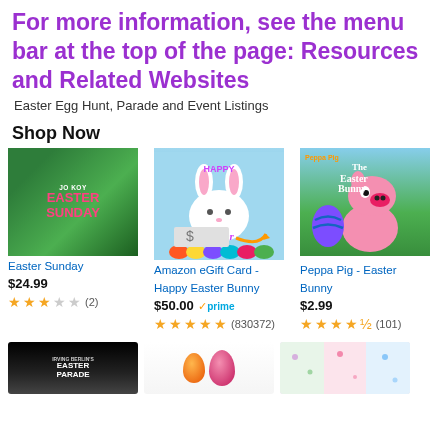For more information, see the menu bar at the top of the page: Resources and Related Websites
Easter Egg Hunt, Parade and Event Listings
Shop Now
[Figure (photo): Product image for Easter Sunday movie]
Easter Sunday
$24.99
★★★☆☆ (2)
[Figure (photo): Amazon eGift Card - Happy Easter Bunny product image]
Amazon eGift Card - Happy Easter Bunny
$50.00 ✓prime
★★★★★ (830372)
[Figure (photo): Peppa Pig - Easter Bunny product image]
Peppa Pig - Easter Bunny
$2.99
★★★★½ (101)
[Figure (photo): Irving Berlin's Easter Parade product image]
[Figure (photo): Easter eggs product image]
[Figure (photo): Easter fabric/gift wrap product image]